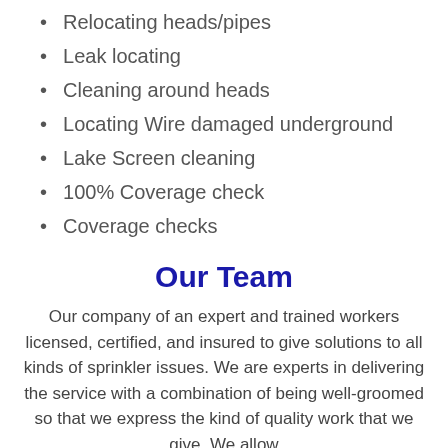Relocating heads/pipes
Leak locating
Cleaning around heads
Locating Wire damaged underground
Lake Screen cleaning
100% Coverage check
Coverage checks
Our Team
Our company of an expert and trained workers licensed, certified, and insured to give solutions to all kinds of sprinkler issues. We are experts in delivering the service with a combination of being well-groomed so that we express the kind of quality work that we give. We allow